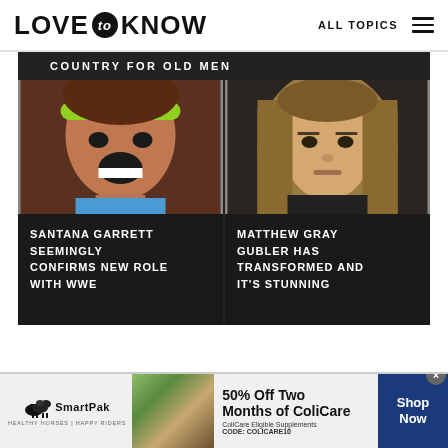LOVE to KNOW — ALL TOPICS
COUNTRY FOR OLD MEN
[Figure (photo): Woman with green headband, mouth open, intense expression]
[Figure (photo): Man with long brown hair, neutral expression, dark background]
SANTANA GARRETT SEEMINGLY CONFIRMS NEW ROLE WITH WWE
MATTHEW GRAY GUBLER HAS TRANSFORMED AND IT'S STUNNING
[Figure (photo): SmartPak advertisement banner with horse and rider photo, 50% Off Two Months of ColiCare, CODE: COLICARE10, Shop Now]